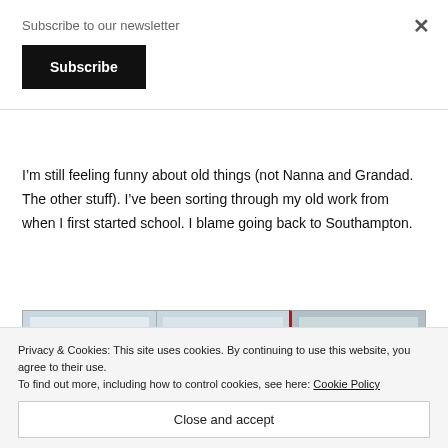Subscribe to our newsletter
Subscribe
I'm still feeling funny about old things (not Nanna and Grandad. The other stuff). I've been sorting through my old work from when I first started school. I blame going back to Southampton.
[Figure (photo): Three side-by-side photos of handwritten school work papers on a light background]
Privacy & Cookies: This site uses cookies. By continuing to use this website, you agree to their use.
To find out more, including how to control cookies, see here: Cookie Policy
Close and accept